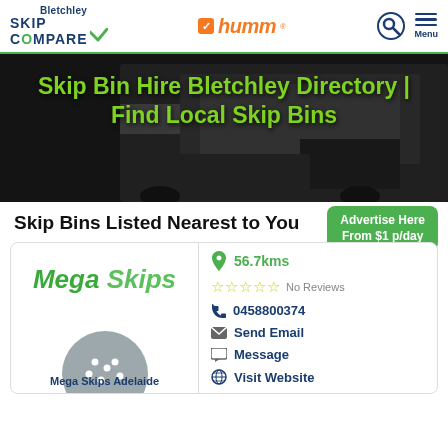Skip Compare Bletchley | humm | Menu
Skip Bin Hire Bletchley Directory | Find Local Skip Bins
Skip Bins Listed Nearest to You
Advertise Here From $1 p/day
[Figure (logo): Mega Skips logo in green italic text]
56.7kms
No Reviews
0458800374
Send Email
Message
Mega Skips Adelaide
Visit Website